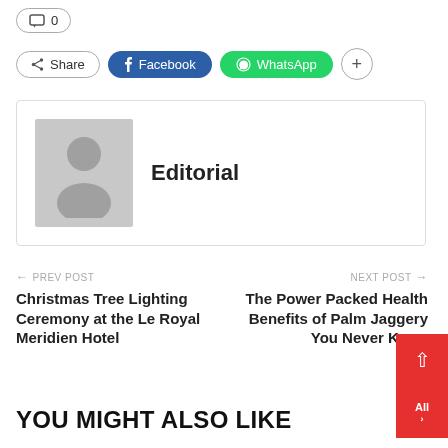0
Share | Facebook | WhatsApp | +
[Figure (illustration): Author avatar placeholder - grey silhouette of a person on grey background]
Editorial
← PREV POST
Christmas Tree Lighting Ceremony at the Le Royal Meridien Hotel
NEXT POST →
The Power Packed Health Benefits of Palm Jaggery You Never Knew
YOU MIGHT ALSO LIKE